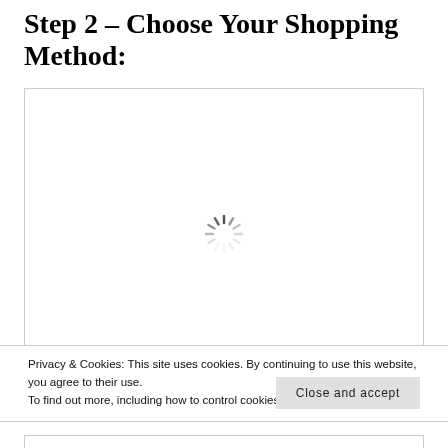Step 2 – Choose Your Shopping Method:
[Figure (screenshot): A white content box with a loading spinner (circular dashed spinner icon) centered within it, indicating content is loading.]
Privacy & Cookies: This site uses cookies. By continuing to use this website, you agree to their use.
To find out more, including how to control cookies, see here: Cookie Policy
Close and accept